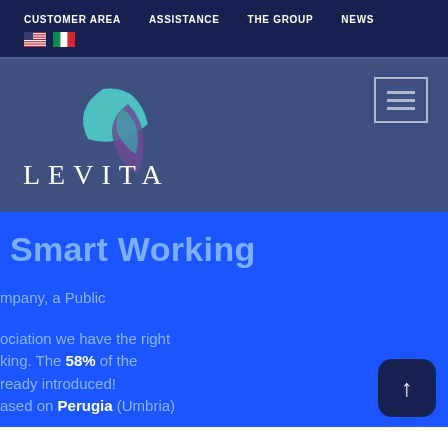CUSTOMER AREA   ASSISTANCE   THE GROUP   NEWS
[Figure (logo): Levita company logo with teal and purple leaf/feather graphic and text 'LEVITA' in white serif font on a blue-grey background]
Smart Working
mpany, a Public
ociation we have the right
king. The 58% of the
ready introduced!
ased on Perugia (Umbria)